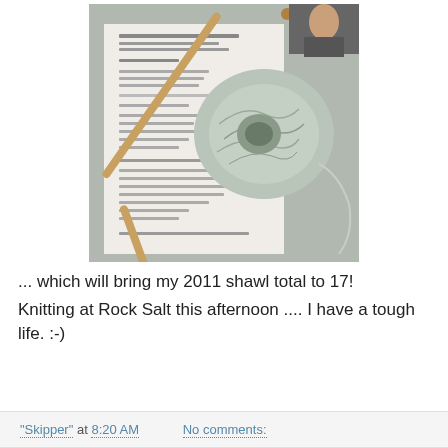[Figure (photo): A knitting pattern sheet with a ball of light green/grey yarn and wooden knitting needles resting on it. The pattern sheet shows text including knitting instructions.]
... which will bring my 2011 shawl total to 17!
Knitting at Rock Salt this afternoon .... I have a tough life. :-)
"Skipper" at 8:20 AM    No comments: